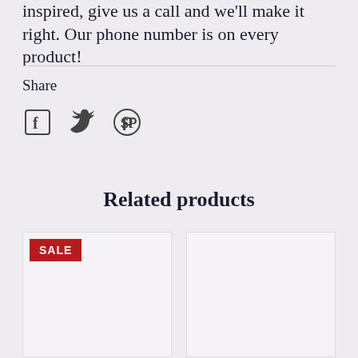inspired, give us a call and we'll make it right. Our phone number is on every product!
Share
[Figure (other): Social sharing icons: Facebook (f), Twitter (bird), Pinterest (P circle)]
Related products
[Figure (other): Product card with SALE badge (red background, white text)]
[Figure (other): Product card without badge]